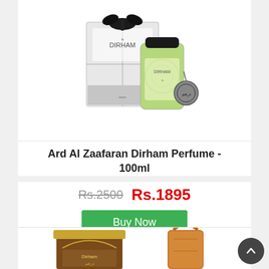[Figure (photo): Ard Al Zaafaran Dirham perfume product photo: a black-and-white gift box with a bow on top, alongside a green glass perfume bottle with black cap and an ornate pendant.]
Ard Al Zaafaran Dirham Perfume - 100ml
Rs.2500  Rs.1895
Buy Now
[Figure (photo): Partial view of two more products at bottom of page: a brown tin box with gold lid and an amber/orange colored perfume bottle with handle.]